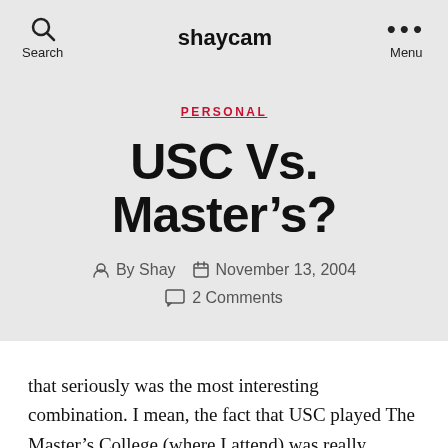shaycam
PERSONAL
USC Vs. Master's?
By Shay  November 13, 2004  2 Comments
that seriously was the most interesting combination. I mean, the fact that USC played The Master's College (where I attend) was really interesting. Two of my three roommates play for our basketball team and a bunch of